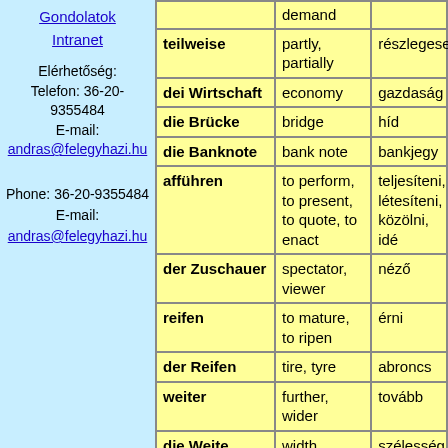Gondolatok
Intranet
Elérhetőség:
Telefon: 36-20-9355484
E-mail:
andras@felegyhazi.hu
Phone: 36-20-9355484
E-mail:
andras@felegyhazi.hu
| German | English | Hungarian |
| --- | --- | --- |
|  | demand |  |
| teilweise | partly, partially | részlegesen |
| dei Wirtschaft | economy | gazdaság |
| die Brücke | bridge | híd |
| die Banknote | bank note | bankjegy |
| afführen | to perform, to present, to quote, to enact | teljesíteni, létesíteni, közölni, idé |
| der Zuschauer | spectator, viewer | néző |
| reifen | to mature, to ripen | érni |
| der Reifen | tire, tyre | abroncs |
| weiter | further, wider | tovább |
| die Weite | width | szélesség |
| die Breite | width, wideness | tágasság, szélesség |
| die Distanz | distance | távolság |
| glauben | to believe | hinni |